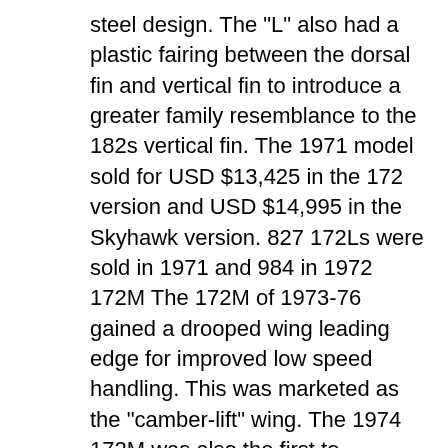steel design. The "L" also had a plastic fairing between the dorsal fin and vertical fin to introduce a greater family resemblance to the 182s vertical fin. The 1971 model sold for USD $13,425 in the 172 version and USD $14,995 in the Skyhawk version. 827 172Ls were sold in 1971 and 984 in 1972 172M The 172M of 1973-76 gained a drooped wing leading edge for improved low speed handling. This was marketed as the "camber-lift" wing. The 1974 172M was also the first to introduce the optional II package which offered higher standard equipment, including a second nav/comm radio, an ADF and transponder. The baggage compartment was increased in size and nose-mounted dual landing lights were available as an option. In 1976, Cessna stopped marketing the aircraft as the 172 and began exclusively using the "Skyhawk" designation. This model year also saw a redesigned instrument panel to hold more avionics. Among other changes, the fuel and other small